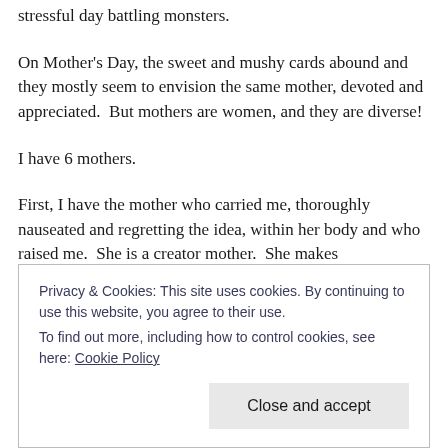stressful day battling monsters.
On Mother's Day, the sweet and mushy cards abound and they mostly seem to envision the same mother, devoted and appreciated.  But mothers are women, and they are diverse!
I have 6 mothers.
First, I have the mother who carried me, thoroughly nauseated and regretting the idea, within her body and who raised me.  She is a creator mother.  She makes
Privacy & Cookies: This site uses cookies. By continuing to use this website, you agree to their use.
To find out more, including how to control cookies, see here: Cookie Policy
Close and accept